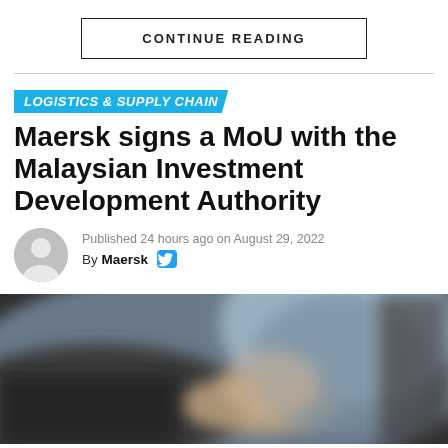CONTINUE READING
LOGISTICS & SUPPLY CHAIN
Maersk signs a MoU with the Malaysian Investment Development Authority
Published 24 hours ago on August 29, 2022
By Maersk
[Figure (photo): Blurred background photo of a person signing a document with a pen, wearing a grey/blue shirt, dark background.]